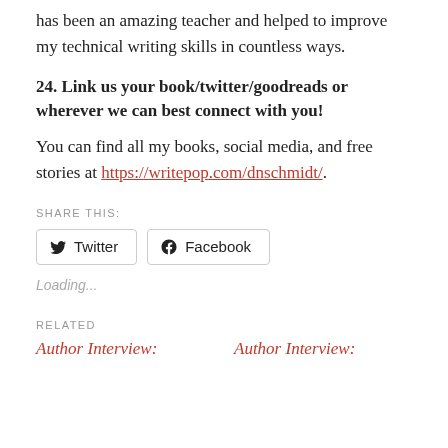has been an amazing teacher and helped to improve my technical writing skills in countless ways.
24. Link us your book/twitter/goodreads or wherever we can best connect with you!
You can find all my books, social media, and free stories at https://writepop.com/dnschmidt/.
SHARE THIS:
Twitter  Facebook
Loading...
RELATED
Author Interview:  Author Interview: